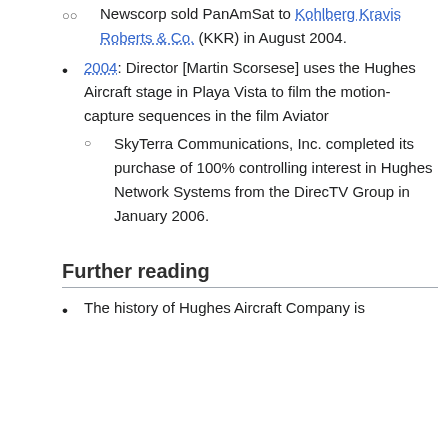Newscorp sold PanAmSat to Kohlberg Kravis Roberts & Co. (KKR) in August 2004.
2004: Director [Martin Scorsese] uses the Hughes Aircraft stage in Playa Vista to film the motion-capture sequences in the film Aviator
SkyTerra Communications, Inc. completed its purchase of 100% controlling interest in Hughes Network Systems from the DirecTV Group in January 2006.
Further reading
The history of Hughes Aircraft Company is